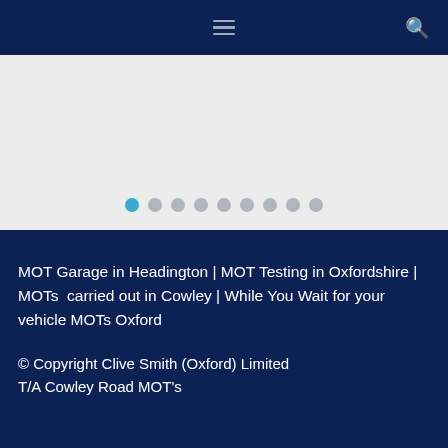Navigation bar with hamburger menu and search icon
[Figure (other): Slideshow/carousel area with light grey background and 9 pagination dots, first dot active in blue]
MOT Garage in Headington | MOT Testing in Oxfordshire | MOTs  carried out in Cowley | While You Wait for your vehicle MOTs Oxford
© Copyright Clive Smith (Oxford) Limited T/A Cowley Road MOT's